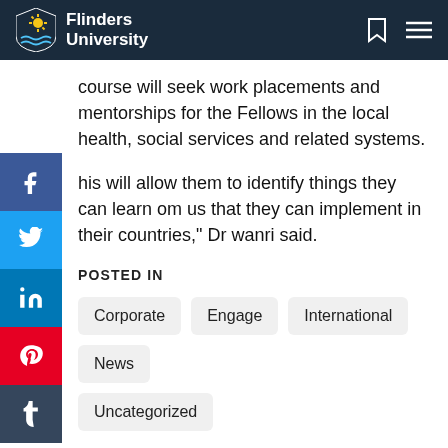Flinders University
course will seek work placements and mentorships for the Fellows in the local health, social services and related systems.
his will allow them to identify things they can learn om us that they can implement in their countries," Dr wanri said.
POSTED IN
Corporate
Engage
International
News
Uncategorized